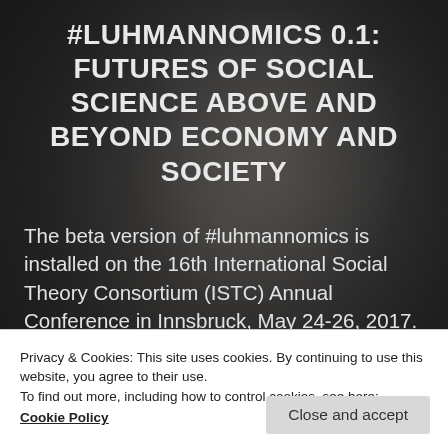#LUHMANNOMICS 0.1: FUTURES OF SOCIAL SCIENCE ABOVE AND BEYOND ECONOMY AND SOCIETY
The beta version of #luhmannomics is installed on the 16th International Social Theory Consortium (ISTC) Annual Conference in Innsbruck, May 24-26, 2017. We are calling for submission of abstracts at: #luhmannomics 0.1: Futures of social science
Privacy & Cookies: This site uses cookies. By continuing to use this website, you agree to their use.
To find out more, including how to control cookies, see here:
Cookie Policy
Close and accept